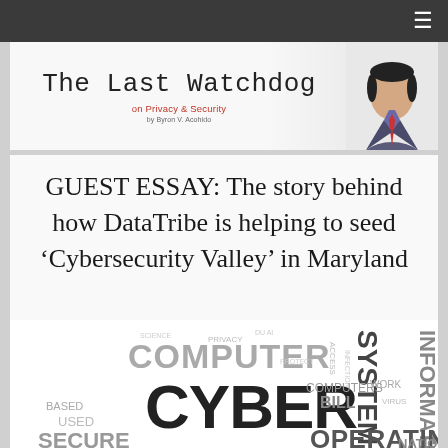≡
[Figure (logo): The Last Watchdog on Privacy & Security by Byron V. Acohido — banner with monospace title text and photo of a man in suit]
GUEST ESSAY: The story behind how DataTribe is helping to seed ‘Cybersecurity Valley’ in Maryland
[Figure (other): Cybersecurity word cloud featuring words: COMPUTER, CYBER, SYSTEM, INFORMATION, OPERATING, COMPUTERS, BILL, SECURE, USED, BASED, NATIONAL and many others in varying sizes and orientations]